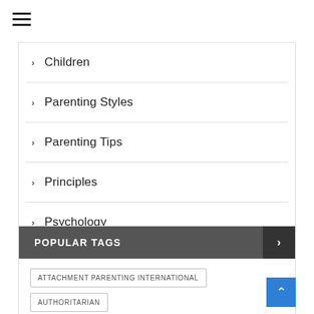[Figure (other): Hamburger menu icon (three horizontal lines)]
Children
Parenting Styles
Parenting Tips
Principles
Psychology
POPULAR TAGS
ATTACHMENT PARENTING INTERNATIONAL
AUTHORITARIAN